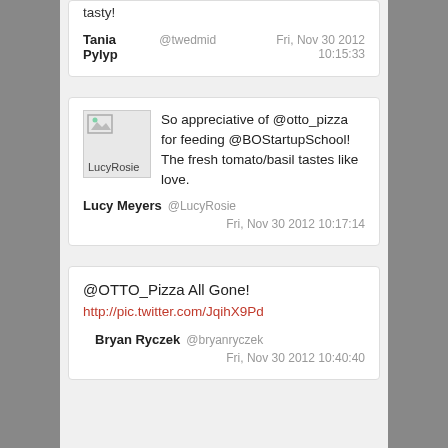tasty!
Tania Pylyp @twedmid  Fri, Nov 30 2012 10:15:33
[Figure (photo): Profile avatar image for LucyRosie (broken image placeholder)]
So appreciative of @otto_pizza for feeding @BOStartupSchool! The fresh tomato/basil tastes like love.
Lucy Meyers @LucyRosie  Fri, Nov 30 2012 10:17:14
@OTTO_Pizza All Gone! http://pic.twitter.com/JqihX9Pd
Bryan Ryczek @bryanryczek  Fri, Nov 30 2012 10:40:40